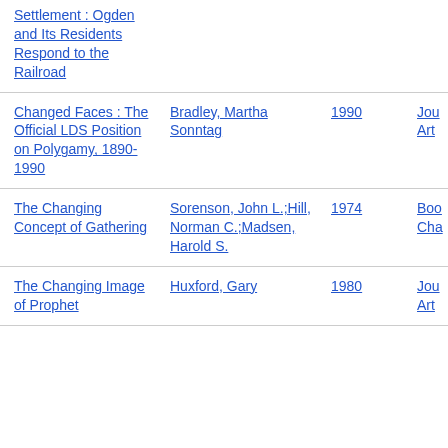| Title | Author | Year | Type |
| --- | --- | --- | --- |
| Settlement : Ogden and Its Residents Respond to the Railroad |  |  |  |
| Changed Faces : The Official LDS Position on Polygamy, 1890-1990 | Bradley, Martha Sonntag | 1990 | Jou Art |
| The Changing Concept of Gathering | Sorenson, John L.;Hill, Norman C.;Madsen, Harold S. | 1974 | Boo Cha |
| The Changing Image of Prophet | Huxford, Gary | 1980 | Jou Art |